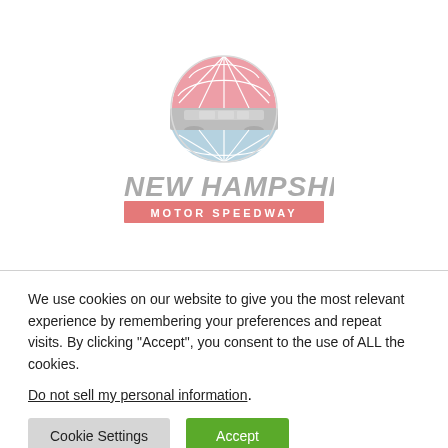[Figure (logo): New Hampshire Motor Speedway logo with circular emblem in red, gray, and blue above the text 'NEW HAMPSHIRE' in large italic gray letters and 'MOTOR SPEEDWAY.' in a red rectangular banner]
We use cookies on our website to give you the most relevant experience by remembering your preferences and repeat visits. By clicking “Accept”, you consent to the use of ALL the cookies.
Do not sell my personal information.
Cookie Settings
Accept